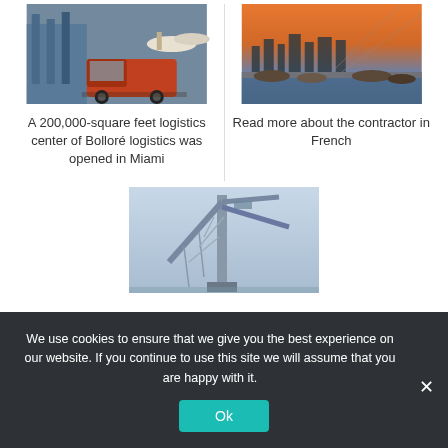[Figure (photo): Red truck at a marina/harbor with boats in background]
[Figure (photo): River or waterfront scene at sunset with city skyline]
A 200,000-square feet logistics center of Bolloré logistics was opened in Miami
Read more about the contractor in French
[Figure (photo): Large industrial crane at a port or construction site]
We use cookies to ensure that we give you the best experience on our website. If you continue to use this site we will assume that you are happy with it.